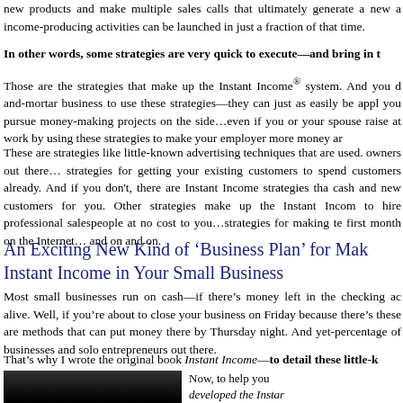new products and make multiple sales calls that ultimately generate a new a income-producing activities can be launched in just a fraction of that time.
In other words, some strategies are very quick to execute—and bring in t
Those are the strategies that make up the Instant Income® system. And you d and-mortar business to use these strategies—they can just as easily be appl you pursue money-making projects on the side…even if you or your spouse raise at work by using these strategies to make your employer more money ar
These are strategies like little-known advertising techniques that are used. owners out there… strategies for getting your existing customers to spend customers already. And if you don't, there are Instant Income strategies tha cash and new customers for you. Other strategies make up the Instant Incom to hire professional salespeople at no cost to you…strategies for making te first month on the Internet… and on and on.
An Exciting New Kind of 'Business Plan' for Mak Instant Income in Your Small Business
Most small businesses run on cash—if there's money left in the checking ac alive. Well, if you're about to close your business on Friday because there's these are methods that can put money there by Thursday night. And yet- percentage of businesses and solo entrepreneurs out there.
That's why I wrote the original book Instant Income—to detail these little-k
[Figure (photo): Photograph of a person, partially visible, dark background]
Now, to help you developed the Instar